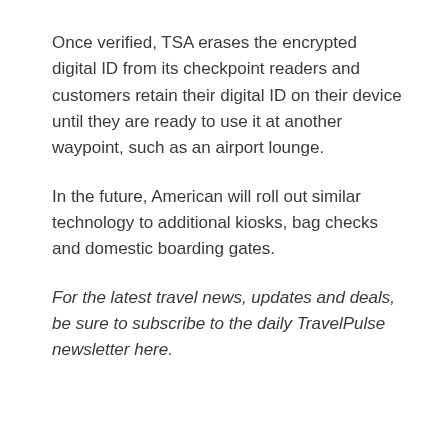Once verified, TSA erases the encrypted digital ID from its checkpoint readers and customers retain their digital ID on their device until they are ready to use it at another waypoint, such as an airport lounge.
In the future, American will roll out similar technology to additional kiosks, bag checks and domestic boarding gates.
For the latest travel news, updates and deals, be sure to subscribe to the daily TravelPulse newsletter here.
Source link and READ MORE
All content is property of the owner, unless otherwise specified. This content is not owned, or maintained by TravelMart,